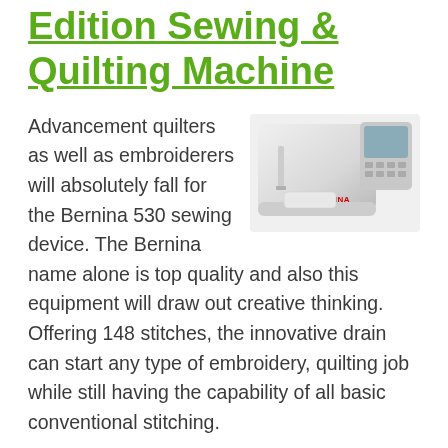Edition Sewing & Quilting Machine
[Figure (photo): A white Bernina 530 sewing and quilting machine on a white background, with a digital display panel on the right side and a red BERNINA logo.]
Advancement quilters as well as embroiderers will absolutely fall for the Bernina 530 sewing device. The Bernina name alone is top quality and also this equipment will draw out creative thinking. Offering 148 stitches, the innovative drain can start any type of embroidery, quilting job while still having the capability of all basic conventional stitching.
If you are an existing drain looking for a first-rate sewing maker upgrade, look no